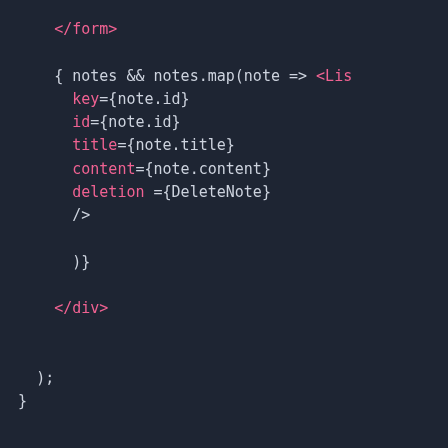[Figure (screenshot): Code editor screenshot showing JSX/React code snippet with syntax highlighting on a dark background. The code shows closing form tag, a notes map expression, ListItem component with key, id, title, content, and deletion props, closing div tag, and closing parentheses/brace.]